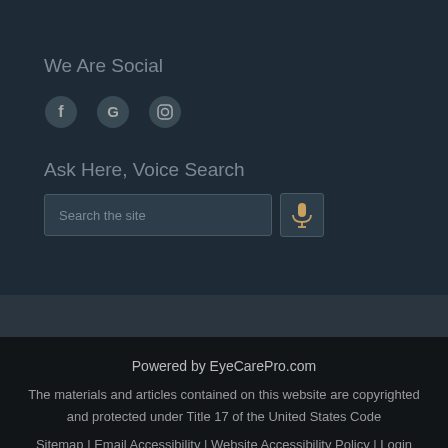We Are Social
[Figure (illustration): Social media icons: Facebook (f), Google (G), Instagram (camera icon)]
Ask Here, Voice Search
[Figure (screenshot): Search input box with placeholder 'Search the site' and a microphone icon button]
Powered by EyeCarePro.com
The materials and articles contained on this website are copyrighted and protected under Title 17 of the United States Code
Sitemap | Email Accessibility | Website Accessibility Policy | Login